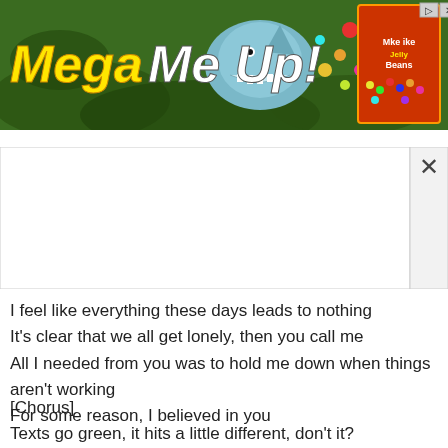[Figure (illustration): Advertisement banner with 'Mega Me Up!' text in yellow italic bold font on a green jungle/nature background with colorful eggs and a shark character, and a product box in the top right corner. Has close/arrow buttons in top right.]
[Figure (screenshot): White popup/overlay area with an X close button on the right side]
I feel like everything these days leads to nothing
It's clear that we all get lonely, then you call me
All I needed from you was to hold me down when things aren't working
For some reason, I believed in you
[Chorus]
Texts go green, it hits a little different, don't it?